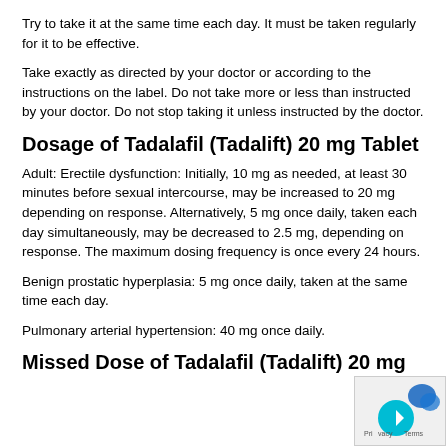Try to take it at the same time each day. It must be taken regularly for it to be effective.
Take exactly as directed by your doctor or according to the instructions on the label. Do not take more or less than instructed by your doctor. Do not stop taking it unless instructed by the doctor.
Dosage of Tadalafil (Tadalift) 20 mg Tablet
Adult: Erectile dysfunction: Initially, 10 mg as needed, at least 30 minutes before sexual intercourse, may be increased to 20 mg depending on response. Alternatively, 5 mg once daily, taken each day simultaneously, may be decreased to 2.5 mg, depending on response. The maximum dosing frequency is once every 24 hours.
Benign prostatic hyperplasia: 5 mg once daily, taken at the same time each day.
Pulmonary arterial hypertension: 40 mg once daily.
Missed Dose of Tadalafil (Tadalift) 20 mg Tablet